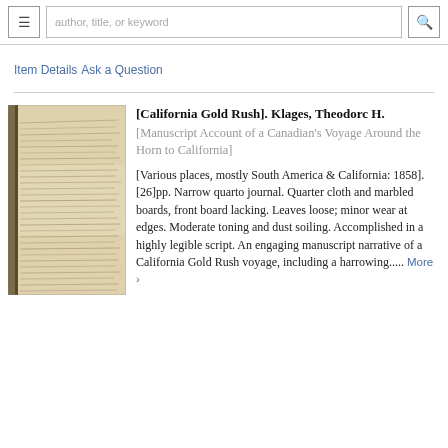author, title, or keyword
Item Details
Ask a Question
[Figure (photo): Photograph of an aged manuscript journal with handwritten text, showing yellowed pages with cursive script.]
[California Gold Rush]. Klages, Theodorc H.
[Manuscript Account of a Canadian's Voyage Around the Horn to California]
[Various places, mostly South America & California: 1858]. [26]pp. Narrow quarto journal. Quarter cloth and marbled boards, front board lacking. Leaves loose; minor wear at edges. Moderate toning and dust soiling. Accomplished in a highly legible script. An engaging manuscript narrative of a California Gold Rush voyage, including a harrowing..... More >